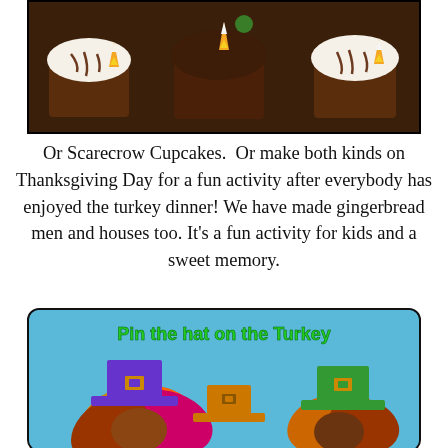[Figure (photo): Photo of chocolate cupcakes decorated as scarecrows with candy corn and chocolate frosting details, displayed in a row against a dark background.]
Or Scarecrow Cupcakes.  Or make both kinds on Thanksgiving Day for a fun activity after everybody has enjoyed the turkey dinner!  We have made gingerbread men and houses too. It’s a fun activity for kids and a sweet memory.
[Figure (photo): Image of a 'Pin the hat on the Turkey' Thanksgiving game featuring paper turkeys with colorful feathers and pilgrim hats in purple, orange, and green on a blue background.]